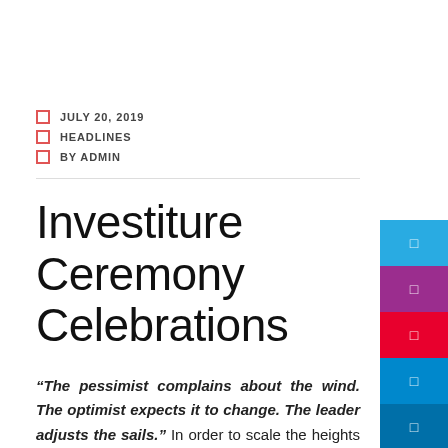JULY 20, 2019
HEADLINES
BY ADMIN
Investiture Ceremony Celebrations
“The pessimist complains about the wind. The optimist expects it to change. The leader adjusts the sails.” In order to scale the heights and reach the pinnacle of success, Edify World School, Firozabad, always strives to inculcate a sense of responsibility and commitment among the students with